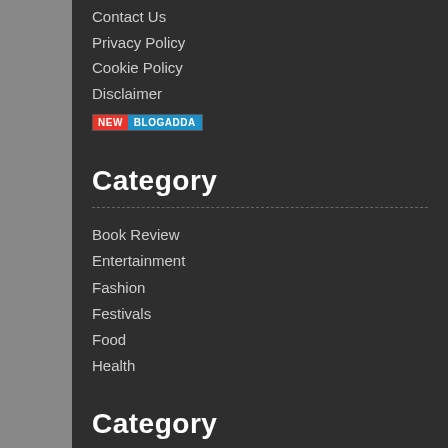Contact Us
Privacy Policy
Cookie Policy
Disclaimer
[Figure (logo): NEW BLOGADDA badge with red NEW label and blue BLOGADDA label]
Category
Book Review
Entertainment
Fashion
Festivals
Food
Health
Category
Bollywood News
Hollywood News
Hindi Movies Review
English Movies Review